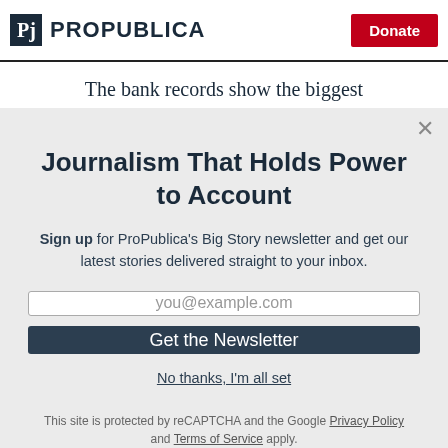ProPublica | Donate
The bank records show the biggest
Journalism That Holds Power to Account
Sign up for ProPublica's Big Story newsletter and get our latest stories delivered straight to your inbox.
you@example.com
Get the Newsletter
No thanks, I'm all set
This site is protected by reCAPTCHA and the Google Privacy Policy and Terms of Service apply.